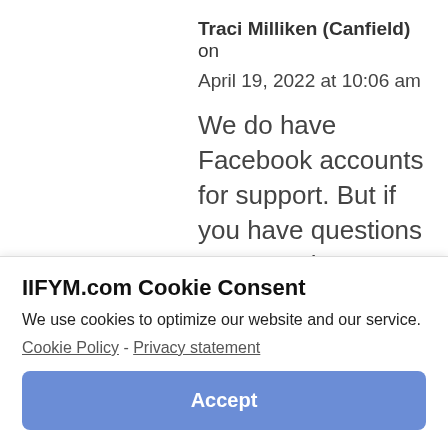Traci Milliken (Canfield) on
April 19, 2022 at 10:06 am
We do have Facebook accounts for support. But if you have questions you can always send an email
IIFYM.com Cookie Consent
We use cookies to optimize our website and our service.
Cookie Policy - Privacy statement
Accept